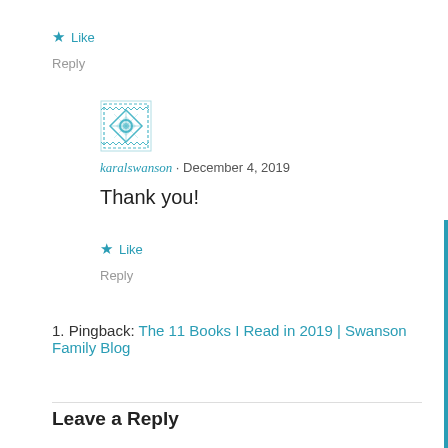★ Like
Reply
[Figure (illustration): Teal/cyan decorative avatar icon with geometric snowflake-like pattern]
karalswanson · December 4, 2019
Thank you!
★ Like
Reply
Pingback: The 11 Books I Read in 2019 | Swanson Family Blog
Leave a Reply